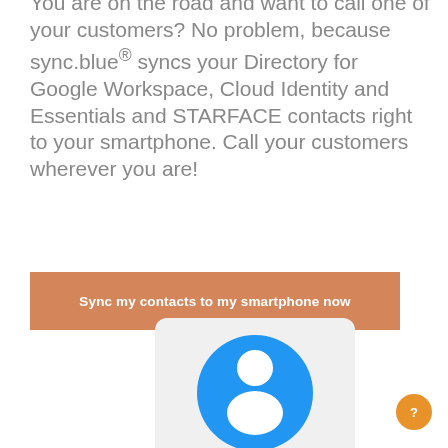You are on the road and want to call one of your customers? No problem, because sync.blue® syncs your Directory for Google Workspace, Cloud Identity and Essentials and STARFACE contacts right to your smartphone. Call your customers wherever you are!
Sync my contacts to my smartphone now
[Figure (illustration): Partial view of a smartphone illustration with blue circular icon showing a contact/person silhouette, on a light gray rounded rectangle card background. Bottom portion visible.]